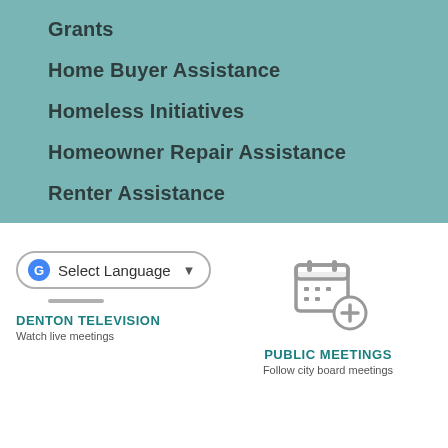Grants
Home Buyer Assistance
Homeless Initiatives
Homeowner Repair Assistance
Renter Assistance
[Figure (screenshot): Google Translate 'Select Language' dropdown widget with rounded border and dropdown arrow]
DENTON TELEVISION
Watch live meetings
[Figure (illustration): Calendar icon with a plus sign badge, grey outline style]
PUBLIC MEETINGS
Follow city board meetings